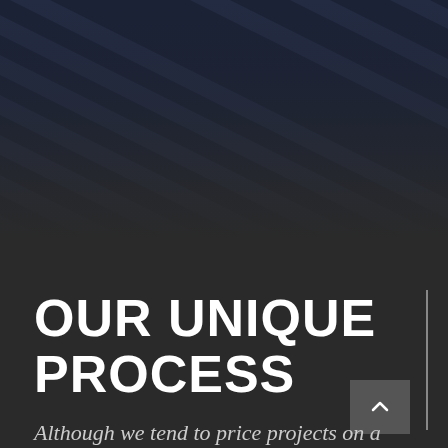[Figure (photo): Dark navy background with diagonal lines/stripes pattern, occupying the top portion of the page]
OUR UNIQUE PROCESS
Although we tend to price projects on a